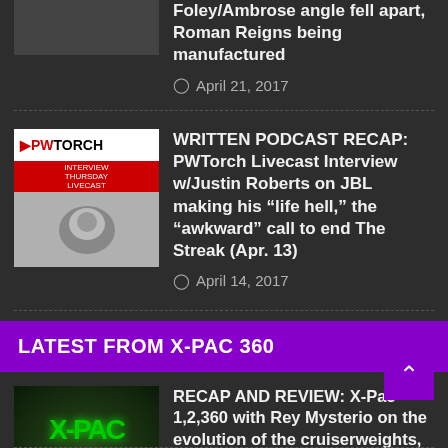Foley/Ambrose angle fell apart, Roman Reigns being manufactured
April 21, 2017
WRITTEN PODCAST RECAP: PWTorch Livecast Interview w/Justin Roberts on JBL making his “life hell,” the “awkward” call to end The Streak (Apr. 13)
April 14, 2017
LATEST FROM X-PAC 360
RECAP AND REVIEW: X-Pac 1,2,360 with Rey Mysterio on the evolution of the cruiserweights, the best high-flyers in the world, working with X-Pac in WCW, why Bobby Roode shouldn’t be in a Conga line (Ep. 86)
May 28, 2018